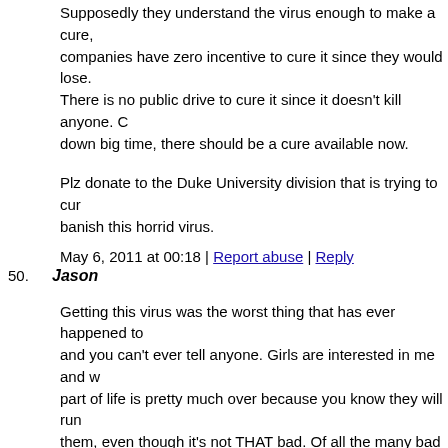Supposedly they understand the virus enough to make a cure, companies have zero incentive to cure it since they would lose. There is no public drive to cure it since it doesn't kill anyone. down big time, there should be a cure available now.
Plz donate to the Duke University division that is trying to cure banish this horrid virus.
May 6, 2011 at 00:18 | Report abuse | Reply
50. Jason
Getting this virus was the worst thing that has ever happened to and you can't ever tell anyone. Girls are interested in me and w part of life is pretty much over because you know they will run them, even though it's not THAT bad. Of all the many bad thin one really killed my spirit. I know they can find a cure if there
Everyone plz donate for this cause.
May 6, 2011 at 00:39 | Report abuse | Reply
« Previous 1 2 3 4 5 6 7 8 9 10 11 12 13 14 15 16 17 18 19 20 21 22 33 34 35 36 37 38 39 40 41 42 43 44 45 46 47 48 49 50 51 52 53 54 65 66 67 68 69 70 71 72 73 74 75 76 77 78 79 80 81 82 83 84 85 86 97 98 99 100 101 102 103 104 105 106 107 108 109 110 111 112 113 121 122 123 124 125 126 127 128 129 130 131 132 133 134 135 136